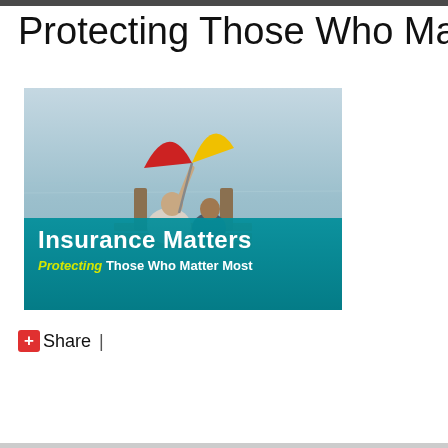Protecting Those Who Matter M
[Figure (photo): Two people sitting on a dock under a colorful red and yellow umbrella with water in the background. The bottom of the image has a teal overlay with text reading 'Insurance Matters' and 'Protecting Those Who Matter Most'.]
Share  |